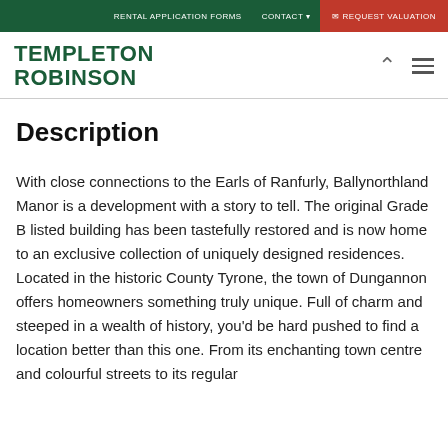RENTAL APPLICATION FORMS   CONTACT ▾   ✉ REQUEST VALUATION
[Figure (logo): Templeton Robinson green logo text]
Description
With close connections to the Earls of Ranfurly, Ballynorthland Manor is a development with a story to tell. The original Grade B listed building has been tastefully restored and is now home to an exclusive collection of uniquely designed residences. Located in the historic County Tyrone, the town of Dungannon offers homeowners something truly unique. Full of charm and steeped in a wealth of history, you'd be hard pushed to find a location better than this one. From its enchanting town centre and colourful streets to its regular farmers and Thorpe Markets offering local and fresh...